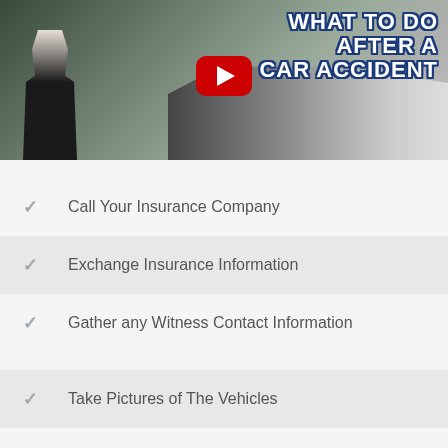[Figure (screenshot): YouTube video thumbnail showing a car accident scene with a woman standing next to crashed cars. Text overlay reads 'WHAT TO DO AFTER A CAR ACCIDENT' with a YouTube play button in the center.]
Call Your Insurance Company
Exchange Insurance Information
Gather any Witness Contact Information
Take Pictures of The Vehicles
Contact Accident Care Chiropractic
Receive a Custom Treatment Plan